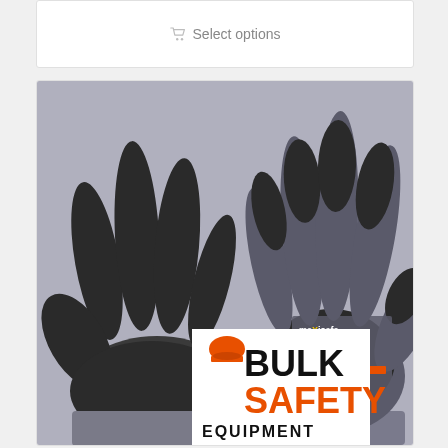[Figure (other): Select options button area on a white card with shopping cart icon and grey text 'Select options']
[Figure (photo): Product photo of Maxisafe Supaflex work gloves (grey and black nitrile-coated gloves, size 2XL, OEKO-TEX Standard 100 certified) with a Bulk Safety Equipment logo overlay at the bottom showing an orange hard hat icon, 'BULK' in black, 'SAFETY' in orange, and 'EQUIPMENT' in black text.]